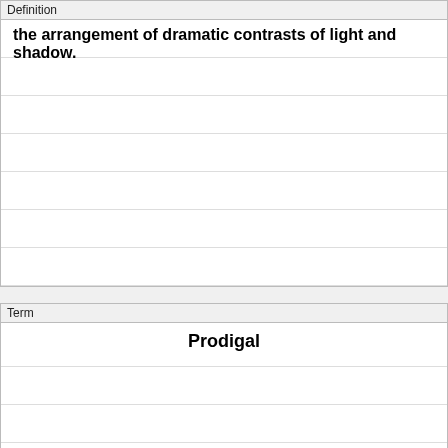Definition
the arrangement of dramatic contrasts of light and shadow.
Term
Prodigal